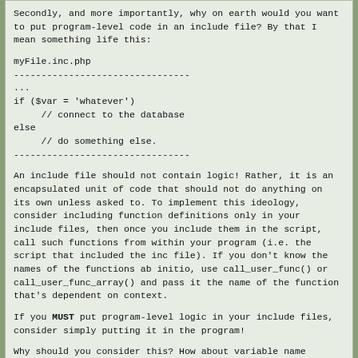Secondly, and more importantly, why on earth would you want to put program-level code in an include file? By that I mean something life this:
myFile.inc.php
--------------------------------
...
if ($var = 'whatever')
     // connect to the database
else
     // do something else.
--------------------------------
An include file should not contain logic! Rather, it is an encapsulated unit of code that should not do anything on its own unless asked to. To implement this ideology, consider including function definitions only in your include files, then once you include them in the script, call such functions from within your program (i.e. the script that included the inc file). If you don't know the names of the functions ab initio, use call_user_func() or call_user_func_array() and pass it the name of the function that's dependent on context.
If you MUST put program-level logic in your include files, consider simply putting it in the program!
Why should you consider this? How about variable name clashes for a starter! You can think of more, I am shure!
Hope that helped
dangan at blackjaguargaming dot net
2.02.2007 3:41